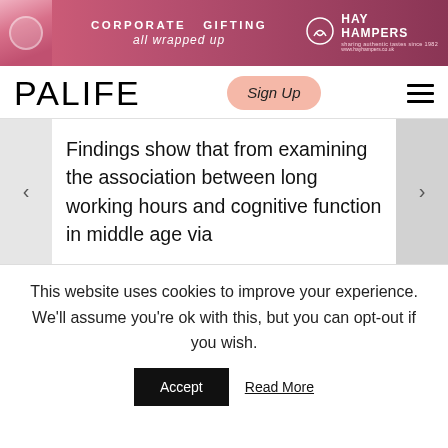[Figure (illustration): Banner advertisement for Hay Hampers Corporate Gifting: pink/mauve background with text 'CORPORATE GIFTING all wrapped up' and Hay Hampers logo on the right.]
PALIFE
[Figure (other): Sign Up button with peach/pink rounded rectangle background and italic script text 'Sign Up']
[Figure (other): Hamburger menu icon (three horizontal lines)]
Findings show that from examining the association between long working hours and cognitive function in middle age via
This website uses cookies to improve your experience. We'll assume you're ok with this, but you can opt-out if you wish.
Accept
Read More